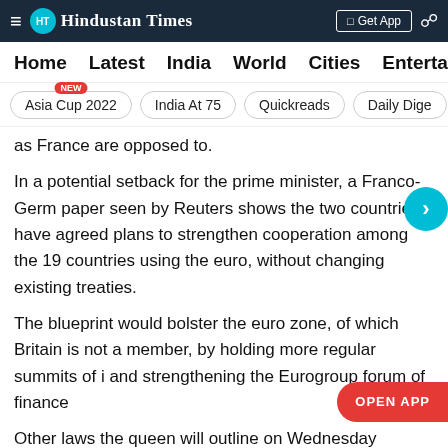Hindustan Times
Home | Latest | India | World | Cities | Entertainment
Asia Cup 2022 | India At 75 | Quickreads | Daily Dige
as France are opposed to.
In a potential setback for the prime minister, a Franco-Germ paper seen by Reuters shows the two countries have agreed plans to strengthen cooperation among the 19 countries using the euro, without changing existing treaties.
The blueprint would bolster the euro zone, of which Britain is not a member, by holding more regular summits of i and strengthening the Eurogroup forum of finance
Other laws the queen will outline on Wednesday include a crackdown on illegal immigration, more powers for Scotland, and a bill preventing any rise in key taxes before 2020. The Queen was expected to also announce plans for a new human rights law, but several British newspapers reported that the